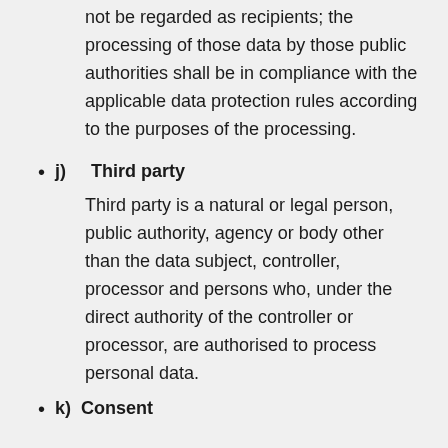not be regarded as recipients; the processing of those data by those public authorities shall be in compliance with the applicable data protection rules according to the purposes of the processing.
j)    Third party

Third party is a natural or legal person, public authority, agency or body other than the data subject, controller, processor and persons who, under the direct authority of the controller or processor, are authorised to process personal data.
k)   Consent